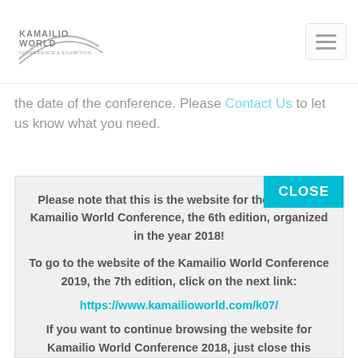Kamailio World Conference & Exhibition [logo] [hamburger menu]
the date of the conference. Please Contact Us to let us know what you need.
CLOSE
Please note that this is the website for the previous Kamailio World Conference, the 6th edition, organized in the year 2018!
To go to the website of the Kamailio World Conference 2019, the 7th edition, click on the next link:
https://www.kamailioworld.com/k07/
If you want to continue browsing the website for Kamailio World Conference 2018, just close this message.
Thank you!